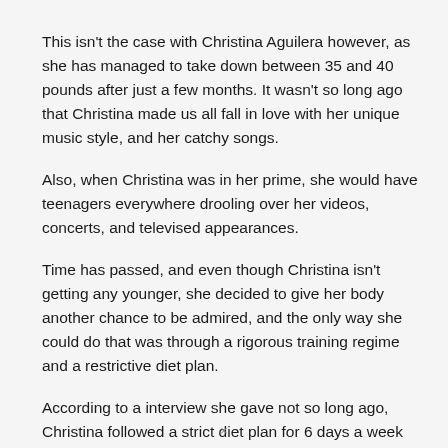This isn't the case with Christina Aguilera however, as she has managed to take down between 35 and 40 pounds after just a few months. It wasn't so long ago that Christina made us all fall in love with her unique music style, and her catchy songs.
Also, when Christina was in her prime, she would have teenagers everywhere drooling over her videos, concerts, and televised appearances.
Time has passed, and even though Christina isn't getting any younger, she decided to give her body another chance to be admired, and the only way she could do that was through a rigorous training regime and a restrictive diet plan.
According to a interview she gave not so long ago, Christina followed a strict diet plan for 6 days a week over the course of many months. This diet plan consisted of three meals and two snacks every day, and plenty of fruits, vegetables, and whole
×